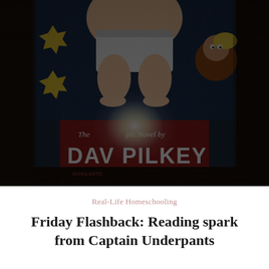[Figure (photo): A photo of a Captain Underpants book by Dav Pilkey, showing the book cover with cartoon character in underwear and the author name 'DAV PILKEY' visible at the bottom. The image is dark with a bright flash reflection in the center.]
Real-Life Homeschooling
Friday Flashback: Reading spark from Captain Underpants